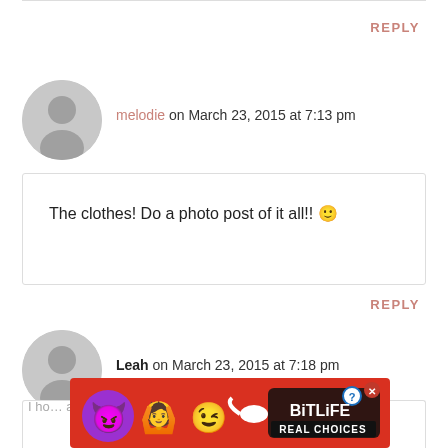REPLY
melodie on March 23, 2015 at 7:13 pm
The clothes! Do a photo post of it all!! 🙂
REPLY
Leah on March 23, 2015 at 7:18 pm
I ho... allow... nd
[Figure (screenshot): BitLife advertisement banner with purple devil emoji, woman raising hands emoji, winking face emoji, sperm emoji, and text BiTLiFE REAL CHOICES on red background]